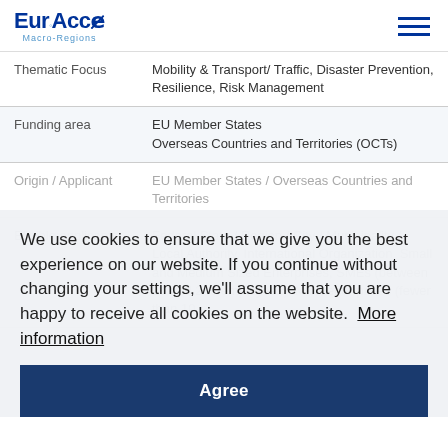EuroAccess Macro-Regions
| Field | Value |
| --- | --- |
| Thematic Focus | Mobility & Transport/ Traffic, Disaster Prevention, Resilience, Risk Management |
| Funding area | EU Member States
Overseas Countries and Territories (OCTs) |
| Origin / Applicant | EU Member States / Overseas Countries and Territories |
| Eligible applicants | Federal State / Region / City / Municipality / Local Authority, International Organization, Small and Medium Sized Enterprises, SMEs (between 10 and 249 employees), Microenterprises (fewer than 10 |
We use cookies to ensure that we give you the best experience on our website. If you continue without changing your settings, we'll assume that you are happy to receive all cookies on the website. More information
Agree